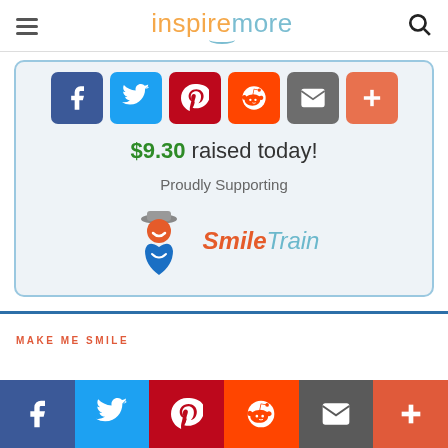inspiremore
[Figure (screenshot): Social share buttons: Facebook, Twitter, Pinterest, Reddit, Email, Plus]
$9.30 raised today!
Proudly Supporting
[Figure (logo): Smile Train logo with icon of person and Smile Train text in red and gray]
MAKE ME SMILE
[Figure (screenshot): Bottom navigation share bar: Facebook, Twitter, Pinterest, Reddit, Email, Plus]